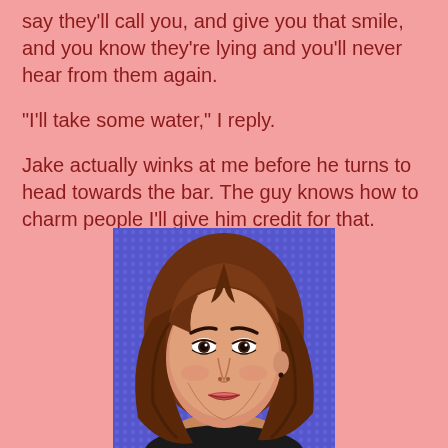say they'll call you, and give you that smile, and you know they're lying and you'll never hear from them again.
“I'll take some water,” I reply.
Jake actually winks at me before he turns to head towards the bar. The guy knows how to charm people I’ll give him credit for that.
[Figure (illustration): Pop-art style illustration of a woman with brown wavy hair on a purple/blue dotted background, looking slightly upward with a neutral expression.]